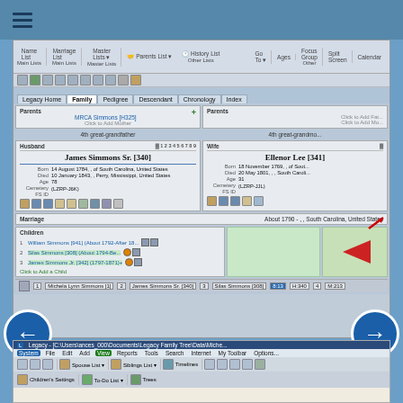[Figure (screenshot): Legacy Family Tree software screenshot showing family view with James Simmons Sr. [340] as husband and Ellenor Lee [341] as wife, with parents sections, marriage info (About 1790, South Carolina, United States), and children: William Simmons [941], Silas Simmons [308], James Simmons Jr. [342]]
(click image to enlarge)
[Figure (screenshot): Bottom portion showing Legacy Family Tree software title bar and menu bar with System, File, Edit, Add, View, Reports, Tools, Search, Internet, My Toolbar, Options menus and toolbar icons including Spouse List, Siblings List, Timelines, Children's Settings, To-Do List, Trees]